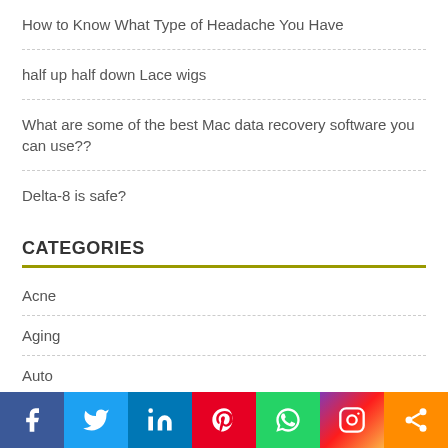How to Know What Type of Headache You Have
half up half down Lace wigs
What are some of the best Mac data recovery software you can use??
Delta-8 is safe?
CATEGORIES
Acne
Aging
Auto
Back-Pain
Bakeries
Chiropractors